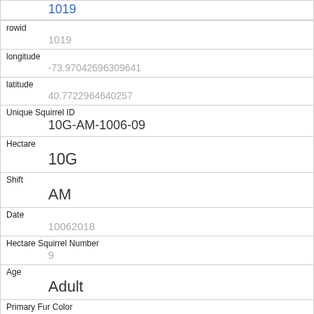1019
| rowid | 1019 |
| longitude | -73.97042696309641 |
| latitude | 40.7722964640257 |
| Unique Squirrel ID | 10G-AM-1006-09 |
| Hectare | 10G |
| Shift | AM |
| Date | 10062018 |
| Hectare Squirrel Number | 9 |
| Age | Adult |
| Primary Fur Color | Gray |